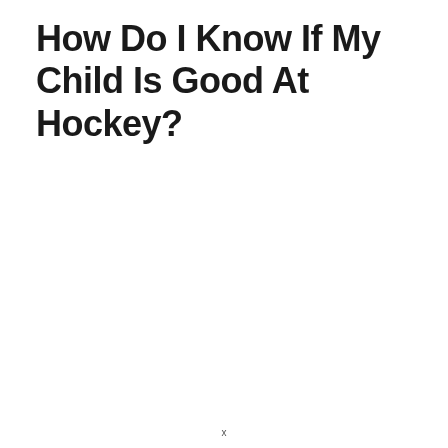How Do I Know If My Child Is Good At Hockey?
x